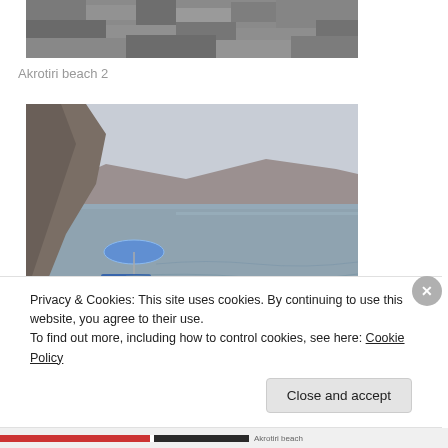[Figure (photo): Partial view of a rocky beach with dark gravel/pebbles, top portion of image cropped.]
Akrotiri beach 2
[Figure (photo): Photo of Akrotiri beach showing rocky coastline with dark volcanic rocks, calm sea water, a blue beach umbrella, sun loungers, a person swimming in the water, and hilly terrain in the background under a hazy sky.]
Privacy & Cookies: This site uses cookies. By continuing to use this website, you agree to their use.
To find out more, including how to control cookies, see here: Cookie Policy
Close and accept